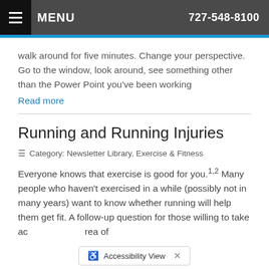MENU  727-548-8100
walk around for five minutes. Change your perspective. Go to the window, look around, see something other than the Power Point you've been working
Read more
Running and Running Injuries
Category: Newsletter Library, Exercise & Fitness
Everyone knows that exercise is good for you.1,2 Many people who haven't exercised in a while (possibly not in many years) want to know whether running will help them get fit. A follow-up question for those willing to take ac... rea of